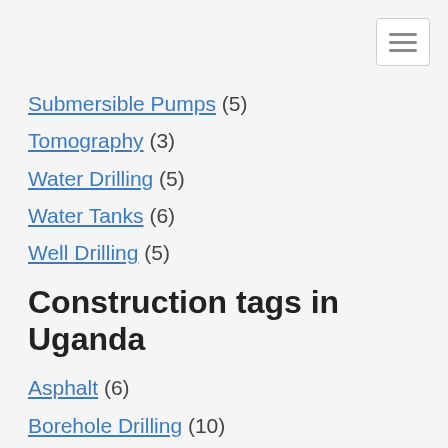Submersible Pumps (5)
Tomography (3)
Water Drilling (5)
Water Tanks (6)
Well Drilling (5)
Construction tags in Uganda
Asphalt (6)
Borehole Drilling (10)
Borehole Rehabilitation (4)
Boreholes (21)
Bridge Construction (200)
Building Design (7)
Carpentry (200)
Civil Engineering (200)
Civil Works (52)